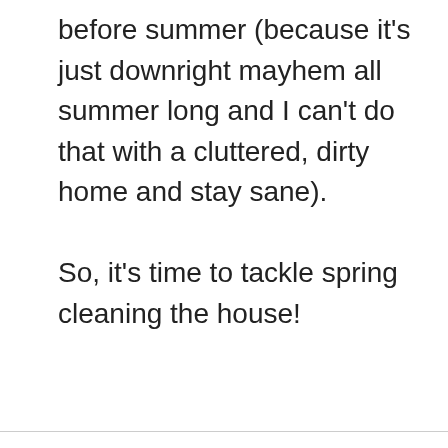before summer (because it's just downright mayhem all summer long and I can't do that with a cluttered, dirty home and stay sane).

So, it's time to tackle spring cleaning the house!